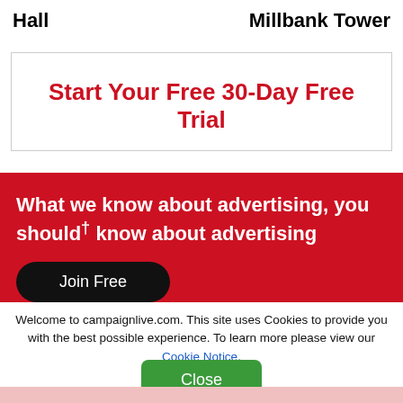Hall
Millbank Tower
Start Your Free 30-Day Free Trial
What we know about advertising, you should know about advertising
Join Free
Welcome to campaignlive.com. This site uses Cookies to provide you with the best possible experience. To learn more please view our Cookie Notice.
Close